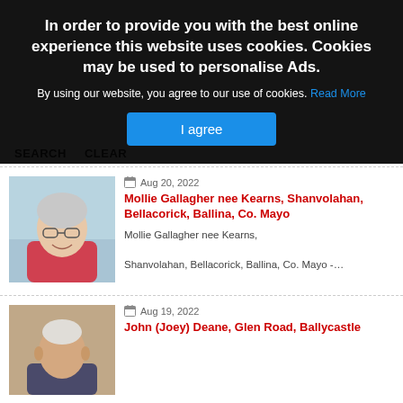In order to provide you with the best online experience this website uses cookies. Cookies may be used to personalise Ads.
By using our website, you agree to our use of cookies. Read More
I agree
SEARCH   CLEAR
Aug 20, 2022
Mollie Gallagher nee Kearns, Shanvolahan, Bellacorick, Ballina, Co. Mayo
Mollie Gallagher nee Kearns,

Shanvolahan, Bellacorick, Ballina, Co. Mayo -…
Aug 19, 2022
John (Joey) Deane, Glen Road, Ballycastle